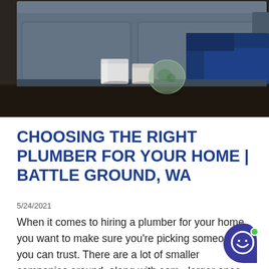[Figure (photo): People sitting on a grey sofa with a dark wood coffee table in the foreground holding a white jar, small jar, glass terrarium, and a green mug]
CHOOSING THE RIGHT PLUMBER FOR YOUR HOME | BATTLE GROUND, WA
5/24/2021
When it comes to hiring a plumber for your home, you want to make sure you're picking someone you can trust. There are a lot of smaller companies around, along with some larger ones, but the goal is to choose the one that's going to give you the most value and the